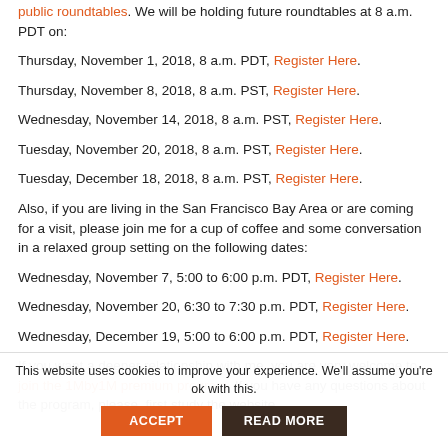public roundtables. We will be holding future roundtables at 8 a.m. PDT on:
Thursday, November 1, 2018, 8 a.m. PDT, Register Here.
Thursday, November 8, 2018, 8 a.m. PST, Register Here.
Wednesday, November 14, 2018, 8 a.m. PST, Register Here.
Tuesday, November 20, 2018, 8 a.m. PST, Register Here.
Tuesday, December 18, 2018, 8 a.m. PST, Register Here.
Also, if you are living in the San Francisco Bay Area or are coming for a visit, please join me for a cup of coffee and some conversation in a relaxed group setting on the following dates:
Wednesday, November 7, 5:00 to 6:00 p.m. PDT, Register Here.
Wednesday, November 20, 6:30 to 7:30 p.m. PDT, Register Here.
Wednesday, December 19, 5:00 to 6:00 p.m. PDT, Register Here.
If you want a deeper relationship with me, you are very welcome to join the 1Mby1M premium program. If you have any questions about the program, please, first study the website…
This website uses cookies to improve your experience. We'll assume you're ok with this. ACCEPT  READ MORE